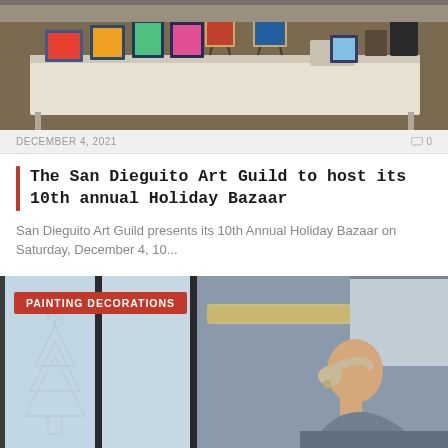[Figure (photo): Photo of an art fair/bazaar table displaying colorful painted items, artworks on easels, and various crafts on white-covered tables.]
DECEMBER 4, 2021
0
The San Dieguito Art Guild to host its 10th annual Holiday Bazaar
San Dieguito Art Guild presents its 10th Annual Holiday Bazaar on Saturday, December 4, 10...
[Figure (photo): Photo of a woman painting decorations on a glass window, showing a star and Christmas tree outline. Tag reads PAINTING DECORATIONS.]